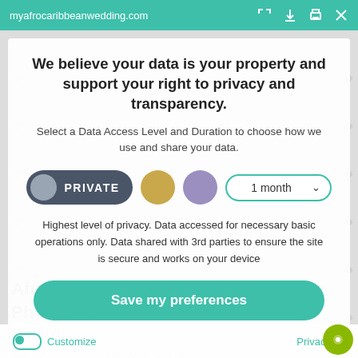myafrocaribbeanwedding.com
We believe your data is your property and support your right to privacy and transparency.
Select a Data Access Level and Duration to choose how we use and share your data.
[Figure (infographic): Privacy selector row with PRIVATE pill (dark grey with grey circle), gold circle, purple circle, and 1 month dropdown with teal border]
Highest level of privacy. Data accessed for necessary basic operations only. Data shared with 3rd parties to ensure the site is secure and works on your device
Save my preferences
Customize
Privacy po